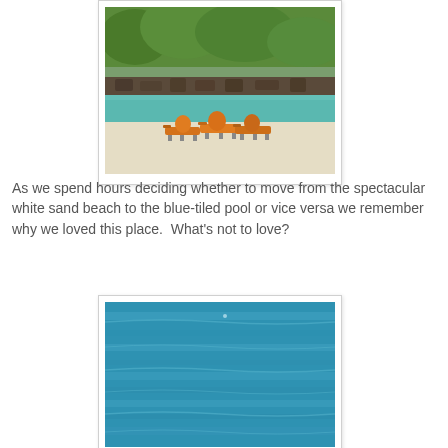[Figure (photo): Beach scene with orange lounge chairs on white sand, turquoise water, and lush green trees and rocky wall in background]
As we spend hours deciding whether to move from the spectacular white sand beach to the blue-tiled pool or vice versa we remember why we loved this place.  What's not to love?
[Figure (photo): Close-up of blue-tiled swimming pool water with gentle ripples]